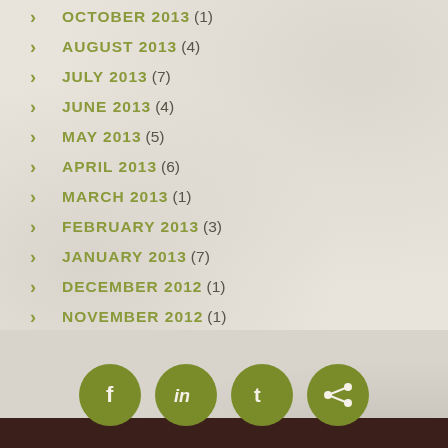OCTOBER 2013 (1)
AUGUST 2013 (4)
JULY 2013 (7)
JUNE 2013 (4)
MAY 2013 (5)
APRIL 2013 (6)
MARCH 2013 (1)
FEBRUARY 2013 (3)
JANUARY 2013 (7)
DECEMBER 2012 (1)
NOVEMBER 2012 (1)
[Figure (infographic): Social media share icons: Facebook (f), LinkedIn (in), Twitter (t), Share (<)]